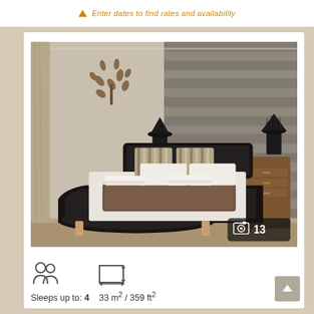Enter dates to find rates and availability
[Figure (photo): Hotel bedroom with black leather sleigh bed, striped pillows, brown throw, stone-effect feature wall, two black bedside lamps, wooden nightstand, and folded white towels on the bed. Photo counter badge shows 13 photos.]
Sleeps up to: 4    33 m² / 359 ft²